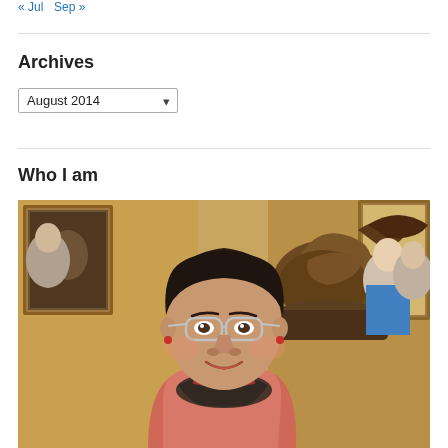« Jul   Sep »
Archives
August 2014
Who I am
[Figure (photo): A woman with short dark hair and glasses, wearing a pink top and dark scarf, smiling. Behind her is a bronze bird sculpture and people in an ornate room with gold-framed artwork on the walls.]